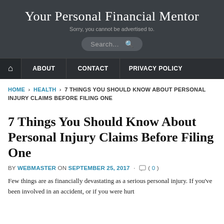Your Personal Financial Mentor
Sorry, you cannot be advertised to.
[Figure (screenshot): Search bar with magnifying glass icon on dark background]
HOME | ABOUT | CONTACT | PRIVACY POLICY
HOME › HEALTH › 7 THINGS YOU SHOULD KNOW ABOUT PERSONAL INJURY CLAIMS BEFORE FILING ONE
7 Things You Should Know About Personal Injury Claims Before Filing One
BY WEBMASTER ON SEPTEMBER 25, 2017 · ( 0 )
Few things are as financially devastating as a serious personal injury. If you've been involved in an accident, or if you were hurt